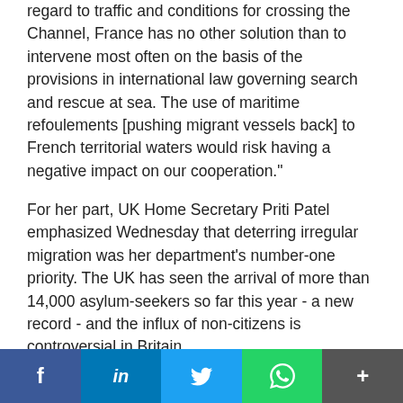regard to traffic and conditions for crossing the Channel, France has no other solution than to intervene most often on the basis of the provisions in international law governing search and rescue at sea. The use of maritime refoulements [pushing migrant vessels back] to French territorial waters would risk having a negative impact on our cooperation."
For her part, UK Home Secretary Priti Patel emphasized Wednesday that deterring irregular migration was her department's number-one priority. The UK has seen the arrival of more than 14,000 asylum-seekers so far this year - a new record - and the influx of non-citizens is controversial in Britain.
The tactics have been in the works for some time. In September 2020, UK officials involved in the effort began testing a "'blockade' tactic in the Channel on the...
[Figure (other): Social media share buttons: Facebook, LinkedIn, Twitter, WhatsApp, and a More button]